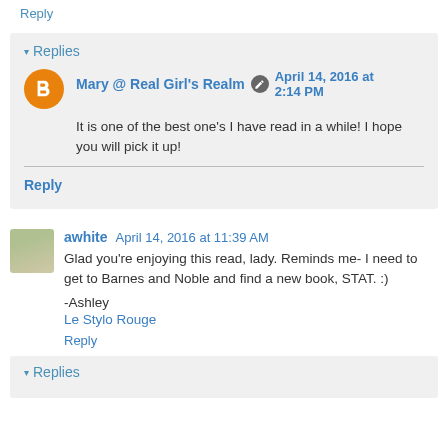Reply
▾ Replies
Mary @ Real Girl's Realm   April 14, 2016 at 2:14 PM
It is one of the best one's I have read in a while! I hope you will pick it up!
Reply
awhite   April 14, 2016 at 11:39 AM
Glad you're enjoying this read, lady. Reminds me- I need to get to Barnes and Noble and find a new book, STAT. :)
-Ashley
Le Stylo Rouge
Reply
▾ Replies